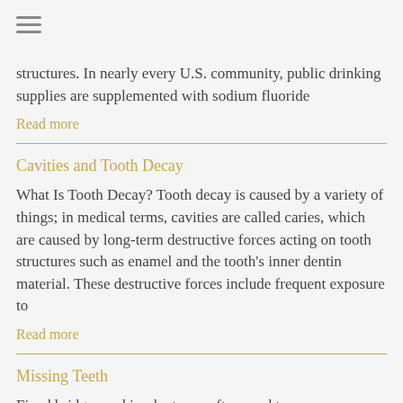☰
structures. In nearly every U.S. community, public drinking supplies are supplemented with sodium fluoride
Read more
Cavities and Tooth Decay
What Is Tooth Decay? Tooth decay is caused by a variety of things; in medical terms, cavities are called caries, which are caused by long-term destructive forces acting on tooth structures such as enamel and the tooth's inner dentin material. These destructive forces include frequent exposure to
Read more
Missing Teeth
Fixed bridges and implants are often used to